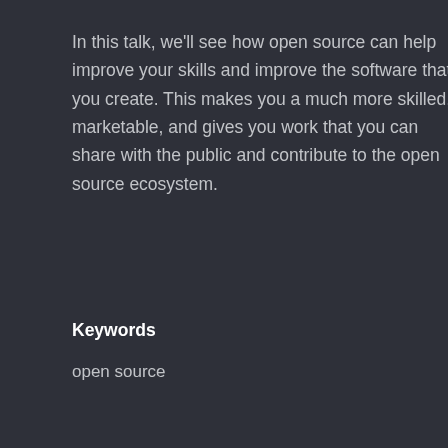In this talk, we'll see how open source can help improve your skills and improve the software that you create. This makes you a much more skilled, marketable, and gives you work that you can share with the public and contribute to the open source ecosystem.
Keywords
open source